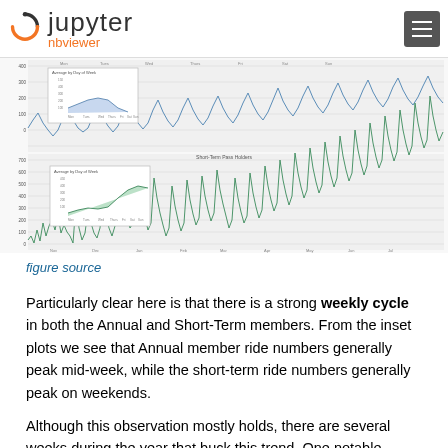Jupyter nbviewer
[Figure (continuous-plot): Two time-series line charts stacked vertically. Top chart shows Annual member ride numbers (blue lines) with a weekly cycle from November to October, with an inset 'Average by Day of Week' chart. Bottom chart shows Short-Term member ride numbers (green lines) with the same time period, also showing a strong weekly cycle with peaks on weekends. Both charts show data from approximately Nov 2013 to Oct 2014.]
figure source
Particularly clear here is that there is a strong weekly cycle in both the Annual and Short-Term members. From the inset plots we see that Annual member ride numbers generally peak mid-week, while the short-term ride numbers generally peak on weekends.
Although this observation mostly holds, there are several weeks during the year that buck this trend. One notable